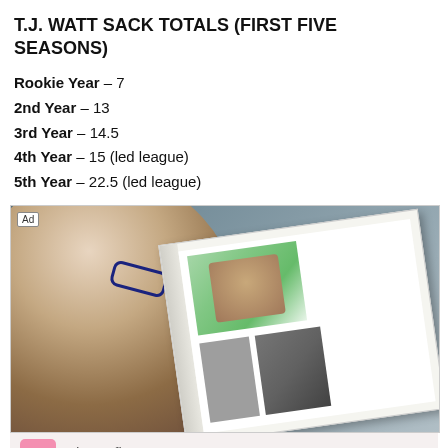T.J. WATT SACK TOTALS (FIRST FIVE SEASONS)
Rookie Year – 7
2nd Year – 13
3rd Year – 14.5
4th Year – 15 (led league)
5th Year – 22.5 (led league)
[Figure (photo): Advertisement photo showing a person reading a photo book with family photos inside. Ad label in top-left corner. Shutterfly branding below.]